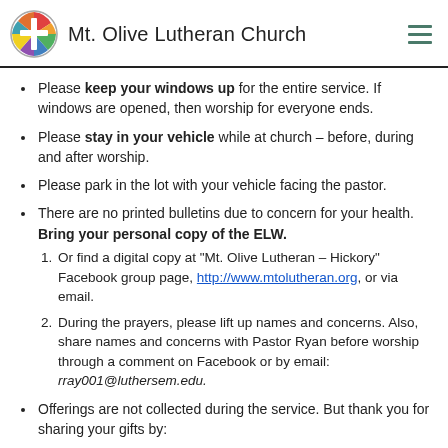Mt. Olive Lutheran Church
Please keep your windows up for the entire service. If windows are opened, then worship for everyone ends.
Please stay in your vehicle while at church – before, during and after worship.
Please park in the lot with your vehicle facing the pastor.
There are no printed bulletins due to concern for your health. Bring your personal copy of the ELW. 1. Or find a digital copy at "Mt. Olive Lutheran – Hickory" Facebook group page, http://www.mtolutheran.org, or via email. 2. During the prayers, please lift up names and concerns. Also, share names and concerns with Pastor Ryan before worship through a comment on Facebook or by email: rray001@luthersem.edu.
Offerings are not collected during the service. But thank you for sharing your gifts by: